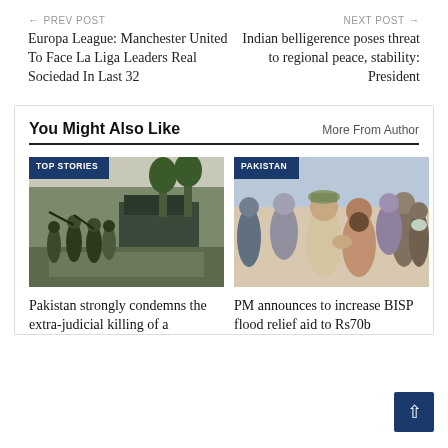← PREV POST | NEXT POST →
Europa League: Manchester United To Face La Liga Leaders Real Sociedad In Last 32
Indian belligerence poses threat to regional peace, stability: President
You Might Also Like
More From Author
[Figure (photo): Soldiers and military vehicles on a street scene, with a TOP STORIES badge]
[Figure (photo): PM greeting a man in a crowd, with a PAKISTAN badge]
Pakistan strongly condemns the extra-judicial killing of a
PM announces to increase BISP flood relief aid to Rs70b